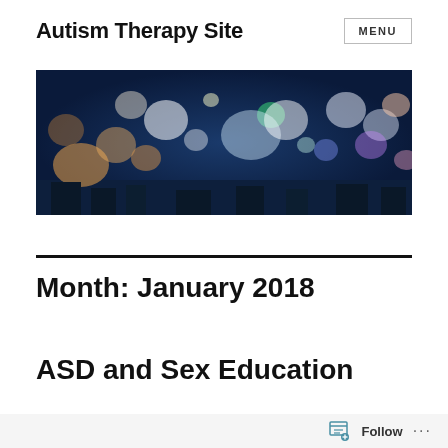Autism Therapy Site
[Figure (photo): Blurred bokeh night cityscape with colorful lights in blue and orange tones]
Month: January 2018
ASD and Sex Education
Follow